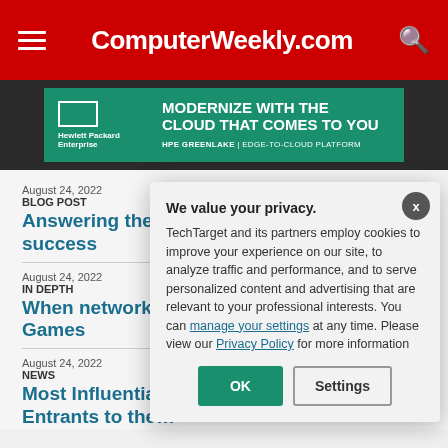ComputerWeekly.com
[Figure (infographic): Hewlett Packard Enterprise advertisement banner: MODERNIZE WITH THE CLOUD THAT COMES TO YOU — HPE GREENLAKE | EDGE-TO-CLOUD PLATFORM]
August 24, 2022
BLOG POST
Answering the… success
August 24, 2022
IN DEPTH
When network… Games
August 24, 2022
NEWS
Most Influentia… Entrants to the…
We value your privacy.
TechTarget and its partners employ cookies to improve your experience on our site, to analyze traffic and performance, and to serve personalized content and advertising that are relevant to your professional interests. You can manage your settings at any time. Please view our Privacy Policy for more information